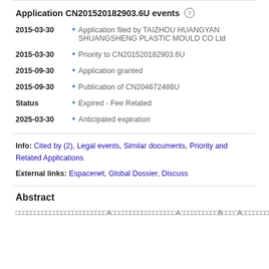Application CN201520182903.6U events
2015-03-30 • Application filed by TAIZHOU HUANGYAN SHUANGSHENG PLASTIC MOULD CO Ltd
2015-03-30 • Priority to CN201520182903.6U
2015-09-30 • Application granted
2015-09-30 • Publication of CN204672486U
Status • Expired - Fee Related
2025-03-30 • Anticipated expiration
Info: Cited by (2), Legal events, Similar documents, Priority and Related Applications
External links: Espacenet, Global Dossier, Discuss
Abstract
Chinese abstract text describing A, B, C components of patent